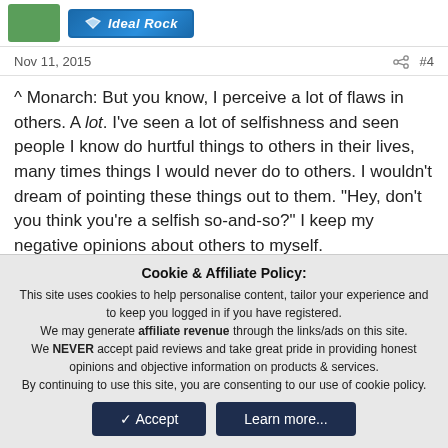[Figure (logo): Green square icon and Ideal Rock blue banner logo with diamond shape]
Nov 11, 2015   #4
^ Monarch: But you know, I perceive a lot of flaws in others. A lot. I've seen a lot of selfishness and seen people I know do hurtful things to others in their lives, many times things I would never do to others. I wouldn't dream of pointing these things out to them. "Hey, don't you think you're a selfish so-and-so?" I keep my negative opinions about others to myself. And I don't think that being busy and putting on weight counts
Cookie & Affiliate Policy:
This site uses cookies to help personalise content, tailor your experience and to keep you logged in if you have registered.
We may generate affiliate revenue through the links/ads on this site.
We NEVER accept paid reviews and take great pride in providing honest opinions and objective information on products & services.
By continuing to use this site, you are consenting to our use of cookie policy.